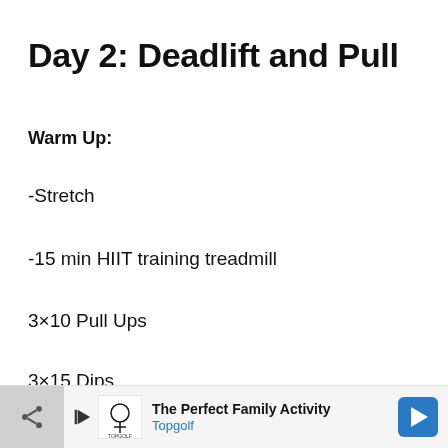Day 2: Deadlift and Pull
Warm Up:
-Stretch
-15 min HIIT training treadmill
3×10 Pull Ups
3×15 Dips
3×20 Push Ups
The Perfect Family Activity Topgolf